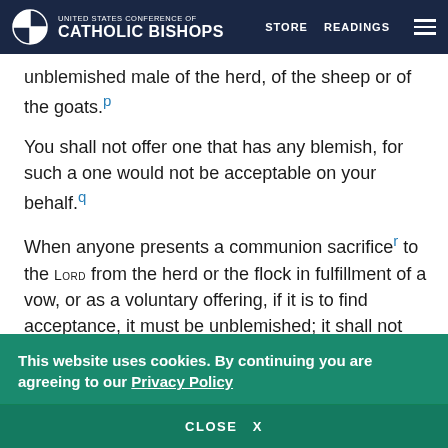UNITED STATES CONFERENCE OF CATHOLIC BISHOPS | STORE | READINGS
unblemished male of the herd, of the sheep or of the goats.[p]
You shall not offer one that has any blemish, for such a one would not be acceptable on your behalf.[q]
When anyone presents a communion sacrifice[r] to the LORD from the herd or the flock in fulfillment of a vow, or as a voluntary offering, if it is to find acceptance, it must be unblemished; it shall not
This website uses cookies. By continuing you are agreeing to our Privacy Policy
CLOSE X